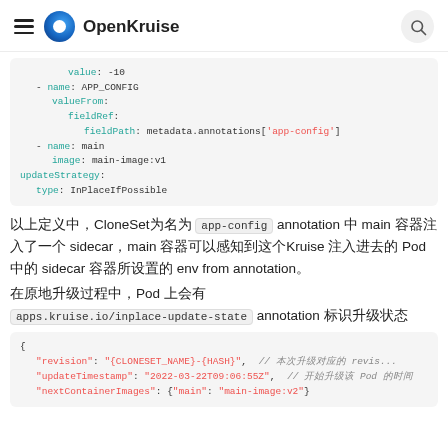OpenKruise
value: -10
- name: APP_CONFIG
  valueFrom:
    fieldRef:
      fieldPath: metadata.annotations['app-config']
- name: main
  image: main-image:v1
updateStrategy:
  type: InPlaceIfPossible
以上定义中，CloneSet为名为 app-config annotation 中 main 容器注入了一个 sidecar，main 容器可以感知到这个Kruise 注入进去的 Pod 中sidecar 容器所设置的 env from annotation。
在原地升级过程中，Pod 上会有 apps.kruise.io/inplace-update-state annotation 标识升级状态
{
  "revision": "{CLONESET_NAME}-{HASH}",  // 本次升级对应的 revis...
  "updateTimestamp": "2022-03-22T09:06:55Z",  // 开始升级该 Pod 的时间
  "nextContainerImages": {"main": "main-image:v2"}